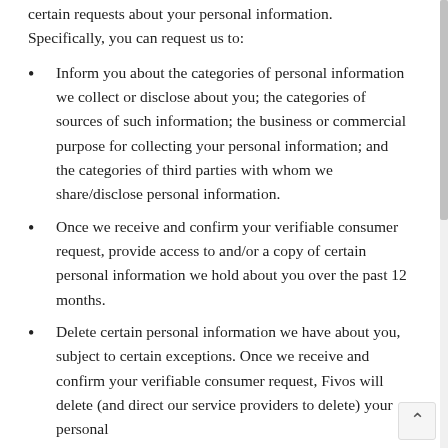If you are a California resident, you are allowed to make certain requests about your personal information. Specifically, you can request us to:
Inform you about the categories of personal information we collect or disclose about you; the categories of sources of such information; the business or commercial purpose for collecting your personal information; and the categories of third parties with whom we share/disclose personal information.
Once we receive and confirm your verifiable consumer request, provide access to and/or a copy of certain personal information we hold about you over the past 12 months.
Delete certain personal information we have about you, subject to certain exceptions. Once we receive and confirm your verifiable consumer request, Fivos will delete (and direct our service providers to delete) your personal